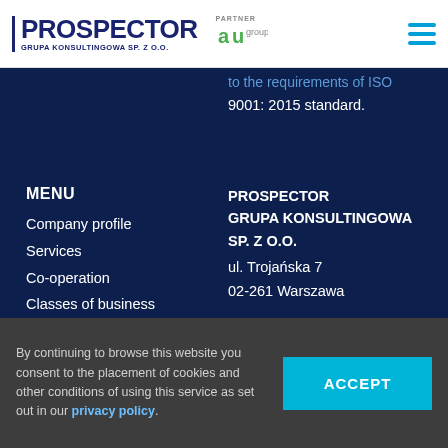[Figure (logo): PROSPECTOR Grupa Konsultingowa SP. Z O.O. logo with partner AU Group logo and hamburger menu icon]
to the requirements of ISO 9001: 2015 standard.
MENU
Company profile
Services
Co-operation
Classes of business
Contact
PROSPECTOR
GRUPA KONSULTINGOWA
SP. Z O.O.
ul. Trojańska 7
02-261 Warszawa

tel. +48 22 822 18 06
e-mail: sekretariat@prospector.com
By continuing to browse this website you consent to the placement of cookies and other conditions of using this service as set out in our privacy policy.